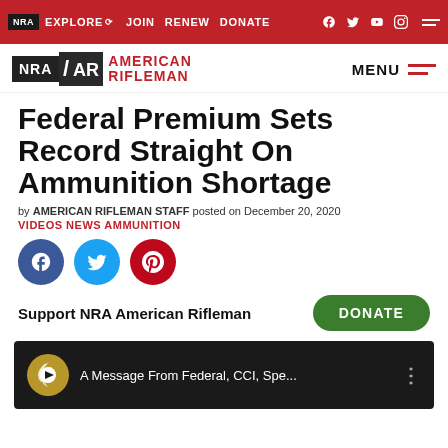NRA EXPLORE JOIN RENEW DONATE
[Figure (logo): NRA American Rifleman logo with MENU button]
Federal Premium Sets Record Straight On Ammunition Shortage
by AMERICAN RIFLEMAN STAFF posted on December 20, 2020
VIDEOS NEWS AMMUNITION
[Figure (infographic): Social share buttons: Facebook, Twitter, Pinterest]
Support NRA American Rifleman  DONATE
[Figure (screenshot): Video thumbnail: A Message From Federal, CCI, Spe...]